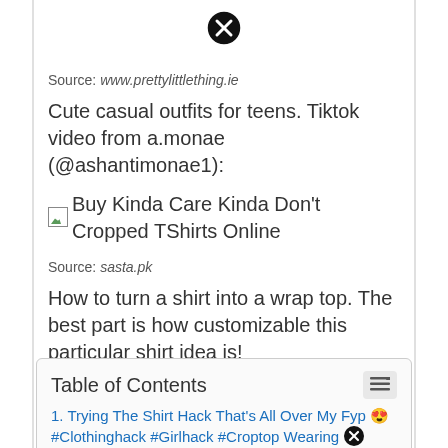[Figure (other): Close/dismiss button icon (circled X) at top center of page]
Source: www.prettylittlething.ie
Cute casual outfits for teens. Tiktok video from a.monae (@ashantimonae1):
[Figure (other): Broken image placeholder with alt text: Buy Kinda Care Kinda Don't Cropped TShirts Online]
Source: sasta.pk
How to turn a shirt into a wrap top. The best part is how customizable this particular shirt idea is!
Table of Contents
1. Trying The Shirt Hack That's All Over My Fyp 😍 #Clothinghack #Girlhack #Croptop Wearing 🚫 Shirt Like This In